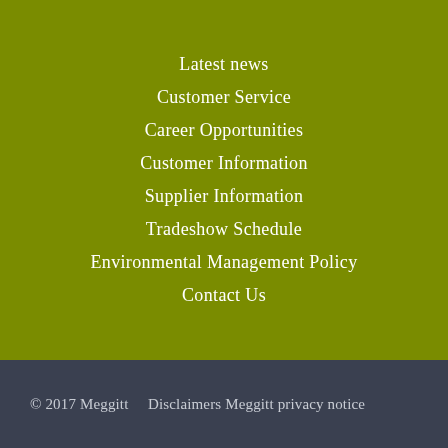Latest news
Customer Service
Career Opportunities
Customer Information
Supplier Information
Tradeshow Schedule
Environmental Management Policy
Contact Us
© 2017 Meggitt    Disclaimers Meggitt privacy notice